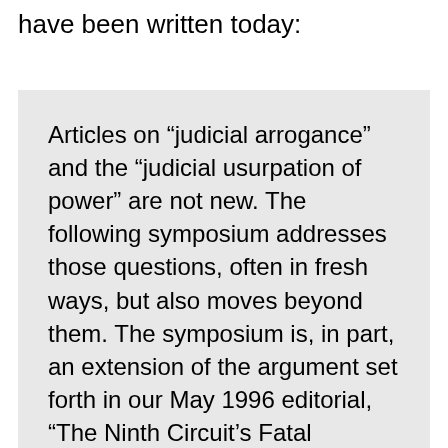have been written today:
Articles on “judicial arrogance” and the “judicial usurpation of power” are not new. The following symposium addresses those questions, often in fresh ways, but also moves beyond them. The symposium is, in part, an extension of the argument set forth in our May 1996 editorial, “The Ninth Circuit’s Fatal Overreach.” The Federal District Court’s decision favoring doctor-assisted suicide, we said, could be fatal not only to many people who are old, sick, or disabled, but also to